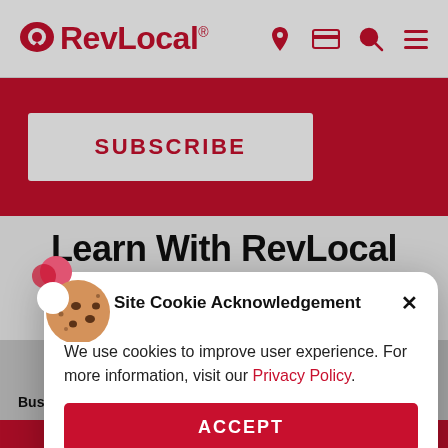RevLocal®
SUBSCRIBE
Learn With RevLocal
Site Cookie Acknowledgement × We use cookies to improve user experience. For more information, visit our Privacy Policy. ACCEPT
Business's Competitive Advantage